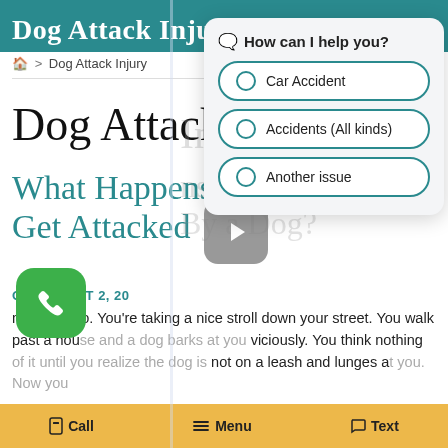Dog Attack Injury
🏠 > Dog Attack Injury
Dog Attack Injury
What Happens When You Get Attacked By a Dog?
[Figure (other): Video play button overlay]
ON AUGUST 2, 20
nis scenario. You're taking a nice stroll down your street. You walk past a house and a dog barks at you viciously. You think nothing of it until you realize the dog is not on a leash and lunges at you. Now you
🗨️ How can I help you?
Car Accident
Accidents (All kinds)
Another issue
Call
Menu
Text